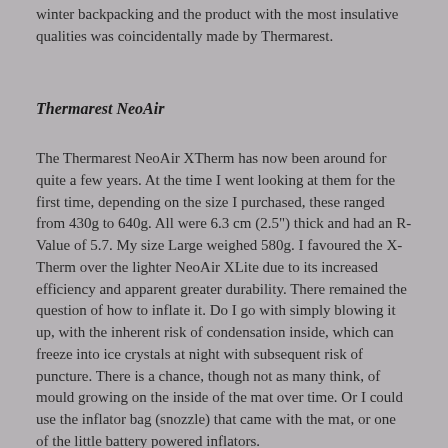winter backpacking and the product with the most insulative qualities was coincidentally made by Thermarest.
Thermarest NeoAir
The Thermarest NeoAir XTherm has now been around for quite a few years. At the time I went looking at them for the first time, depending on the size I purchased, these ranged from 430g to 640g. All were 6.3 cm (2.5") thick and had an R-Value of 5.7. My size Large weighed 580g. I favoured the X-Therm over the lighter NeoAir XLite due to its increased efficiency and apparent greater durability. There remained the question of how to inflate it. Do I go with simply blowing it up, with the inherent risk of condensation inside, which can freeze into ice crystals at night with subsequent risk of puncture. There is a chance, though not as many think, of mould growing on the inside of the mat over time. Or I could use the inflator bag (snozzle) that came with the mat, or one of the little battery powered inflators.